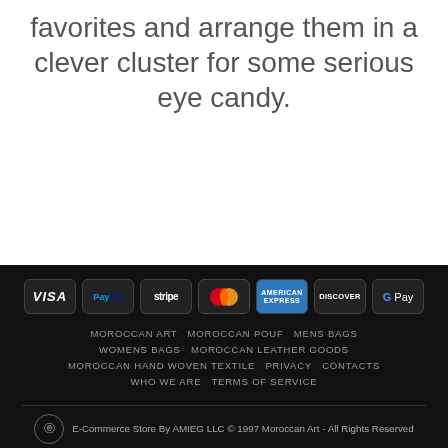favorites and arrange them in a clever cluster for some serious eye candy.
[Figure (other): Payment method icons: VISA, PayPal, stripe, MasterCard, American Express, Discover, G Pay]
MOROCCAN ART   MOROCCAN POUF   MENS BAGS   WOMENS BAGS   MOROCCAN LEATHER GOODS   MOROCCAN HAND WOVEN TEXTILE   PRIVACY   CONTACTS   WHO WE ARE   TERMS OF SERVICE
E-Commerce Store By AMIEG LLC © 1997 Moroccan Art - All Rights Reserved